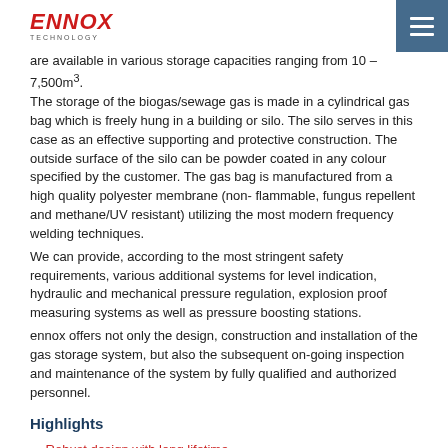ENNOX TECHNOLOGY
are available in various storage capacities ranging from 10 – 7,500m³. The storage of the biogas/sewage gas is made in a cylindrical gas bag which is freely hung in a building or silo. The silo serves in this case as an effective supporting and protective construction. The outside surface of the silo can be powder coated in any colour specified by the customer. The gas bag is manufactured from a high quality polyester membrane (non- flammable, fungus repellent and methane/UV resistant) utilizing the most modern frequency welding techniques.
We can provide, according to the most stringent safety requirements, various additional systems for level indication, hydraulic and mechanical pressure regulation, explosion proof measuring systems as well as pressure boosting stations.
ennox offers not only the design, construction and installation of the gas storage system, but also the subsequent on-going inspection and maintenance of the system by fully qualified and authorized personnel.
Highlights
Robust design with long lifetime
Gas balloon can be replaced
Short assembly time, low maintenance
Equipped with hydraulic under/over pressure safety system as standard